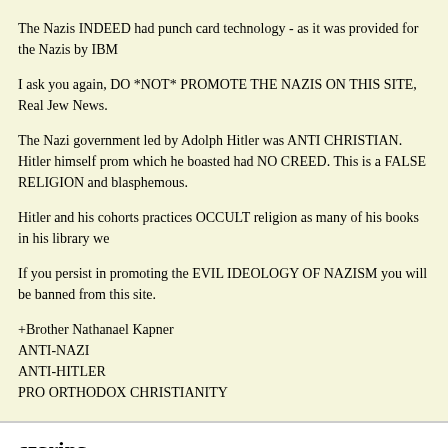The Nazis INDEED had punch card technology - as it was provided for the Nazis by IBM
I ask you again, DO *NOT* PROMOTE THE NAZIS ON THIS SITE, Real Jew News.
The Nazi government led by Adolph Hitler was ANTI CHRISTIAN. Hitler himself prom which he boasted had NO CREED. This is a FALSE RELIGION and blasphemous.
Hitler and his cohorts practices OCCULT religion as many of his books in his library we
If you persist in promoting the EVIL IDEOLOGY OF NAZISM you will be banned from this site.
+Brother Nathanael Kapner
ANTI-NAZI
ANTI-HITLER
PRO ORTHODOX CHRISTIANITY
czarina
December 13, 2008 @ 12:56 pm
Military buildup in Canada? There is nothing like that where I am nor talk of it…and I'm area on Lake Ontario…the malls are full of Christmas shoppers and people are in good s